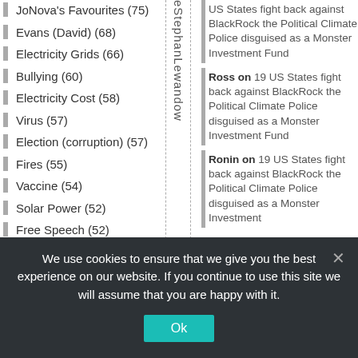JoNova's Favourites (75)
Evans (David) (68)
Electricity Grids (66)
Bullying (60)
Electricity Cost (58)
Virus (57)
Election (corruption) (57)
Fires (55)
Vaccine (54)
Solar Power (52)
Free Speech (52)
Monckton (Christopher) (52)
e-StephanLewandow
US States fight back against BlackRock the Political Climate Police disguised as a Monster Investment Fund
Ross on 19 US States fight back against BlackRock the Political Climate Police disguised as a Monster Investment Fund
Ronin on 19 US States fight back against BlackRock the Political Climate Police disguised as a Monster Investment Fund
We use cookies to ensure that we give you the best experience on our website. If you continue to use this site we will assume that you are happy with it.